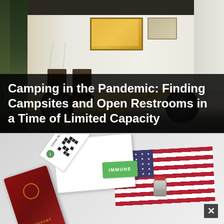[Figure (photo): Outdoor scene with an RV/camper trailer with folding chairs set up outside, trees and vegetation in background]
Camping in the Pandemic: Finding Campsites and Open Restrooms in a Time of Limited Capacity
[Figure (photo): COVID-19 pandemic travel documents including a passport, COVID-19 tested card, immune badge/green card, QR code, vaccine vial, all overlaid on an American flag background, with a close button (X) in the bottom right corner]